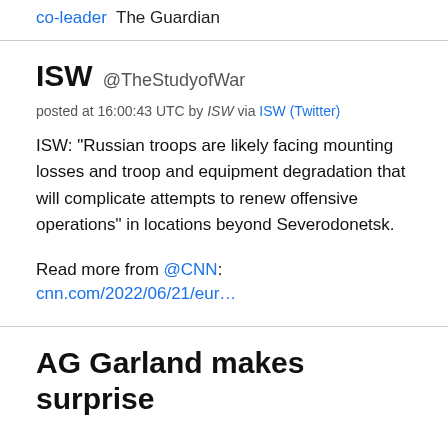co-leader  The Guardian
ISW @TheStudyofWar
posted at 16:00:43 UTC by ISW via ISW (Twitter)
ISW: "Russian troops are likely facing mounting losses and troop and equipment degradation that will complicate attempts to renew offensive operations" in locations beyond Severodonetsk.
Read more from @CNN:
cnn.com/2022/06/21/eur…
AG Garland makes surprise